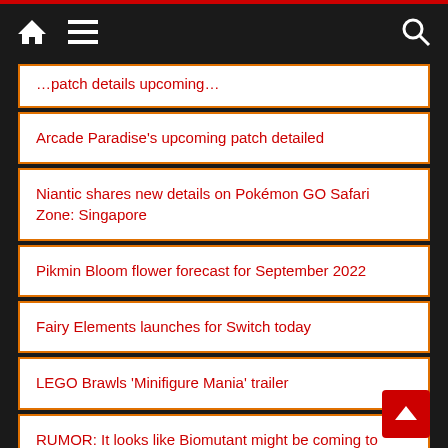Navigation bar with home icon, hamburger menu, and search icon
Arcade Paradise's upcoming patch detailed
Niantic shares new details on Pokémon GO Safari Zone: Singapore
Pikmin Bloom flower forecast for September 2022
Fairy Elements launches for Switch today
LEGO Brawls 'Minifigure Mania' trailer
RUMOR: It looks like Biomutant might be coming to Switch on October 25th
Check out the launch trailer for JoJo's Bizarre Adventure: All-Star Battle R